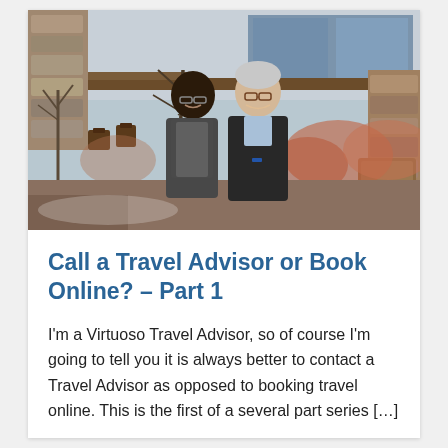[Figure (photo): Two people smiling and posing together outdoors in front of a rustic log and stone building. Winter scene with bare trees and reddish shrubs visible in the background.]
Call a Travel Advisor or Book Online? – Part 1
I'm a Virtuoso Travel Advisor, so of course I'm going to tell you it is always better to contact a Travel Advisor as opposed to booking travel online. This is the first of a several part series […]